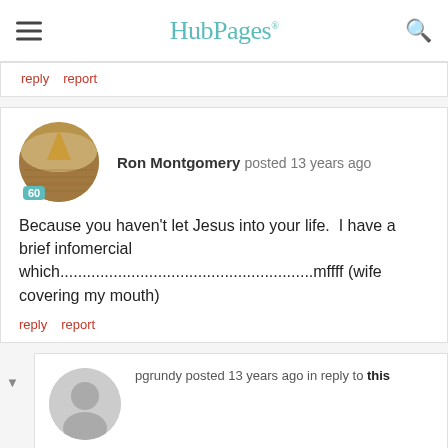HubPages
reply   report
Ron Montgomery posted 13 years ago

Because you haven't let Jesus into your life.  I have a brief infomercial which.........................................................mffff (wife covering my mouth)
reply   report
pgrundy posted 13 years ago in reply to this